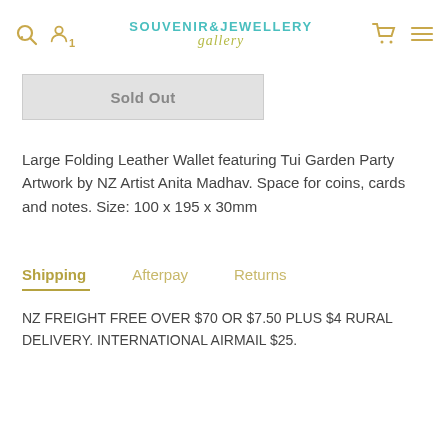Souvenir & Jewellery Gallery
Sold Out
Large Folding Leather Wallet featuring Tui Garden Party Artwork by NZ Artist Anita Madhav. Space for coins, cards and notes. Size: 100 x 195 x 30mm
Shipping   Afterpay   Returns
NZ FREIGHT FREE OVER $70 OR $7.50 PLUS $4 RURAL DELIVERY. INTERNATIONAL AIRMAIL $25.